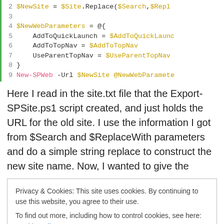[Figure (screenshot): Code block showing PowerShell script lines 2-9 with syntax highlighting. Line 2: $NewSite = $Site.Replace($Search,$Repl... Line 3: empty. Line 4: $NewWebParameters = @{. Line 5: AddToQuickLaunch = $AddToQuickLaunch. Line 6: AddToTopNav = $AddToTopNav. Line 7: UseParentTopNav = $UseParentTopNav. Line 8: }. Line 9: New-SPWeb -Url $NewSite @NewWebParameters]
Here I read in the site.txt file that the Export-SPSite.ps1 script created, and just holds the URL for the old site.  I use the information I got from $Search and $ReplaceWith parameters and do a simple string replace to construct the new site name.  Now, I wanted to give the
Privacy & Cookies: This site uses cookies. By continuing to use this website, you agree to their use.
To find out more, including how to control cookies, see here: Cookie Policy
any sub sites that may exist.  To give that flexibility, I